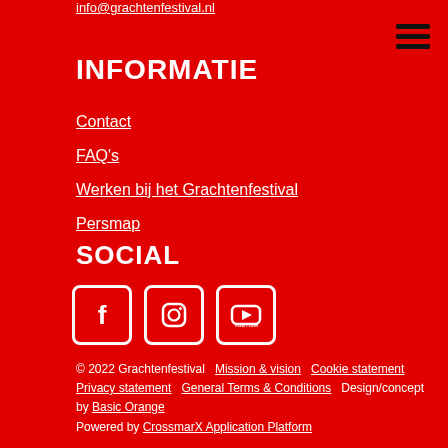info@grachtenfestival.nl
INFORMATIE
Contact
FAQ's
Werken bij het Grachtenfestival
Persmap
SOCIAL
[Figure (illustration): Social media icons: Facebook, Instagram, YouTube]
© 2022 Grachtenfestival   Mission & vision   Cookie statement   Privacy statement   General Terms & Conditions   Design/concept by Basic Orange   Powered by CrossmarX Application Platform